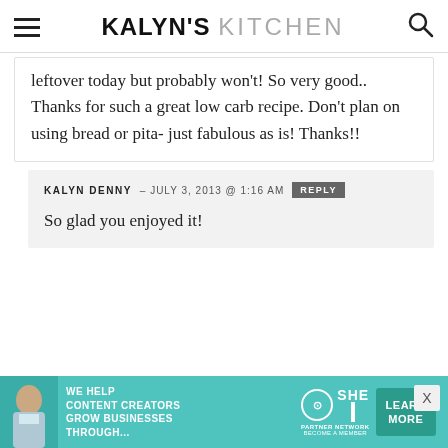KALYN'S KITCHEN
leftover today but probably won't! So very good.. Thanks for such a great low carb recipe. Don't plan on using bread or pita- just fabulous as is! Thanks!!
KALYN DENNY – JULY 3, 2013 @ 1:16 AM  REPLY
So glad you enjoyed it!
[Figure (other): SHE Partner Network advertisement banner: WE HELP CONTENT CREATORS GROW BUSINESSES THROUGH... LEARN MORE button]